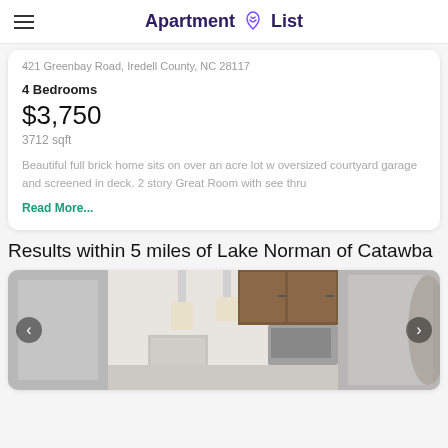Apartment List
421 Greenbay Road, Iredell County, NC 28117
4 Bedrooms
$3,750
3712 sqft
Beautiful full brick home sits on over an acre lot w oversized courtyard garage and screened in deck. 2 story Great Room with see thru
Read More...
Results within 5 miles of Lake Norman of Catawba
[Figure (photo): Interior photo of a kitchen/living area with gray cabinets, pendant lighting, stainless steel appliances, and dark wood upper cabinets. Navigation arrows on left and right sides.]